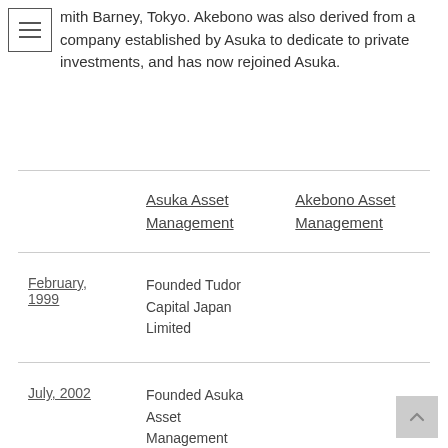Smith Barney, Tokyo. Akebono was also derived from a company established by Asuka to dedicate to private investments, and has now rejoined Asuka.
|  | Asuka Asset Management | Akebono Asset Management |
| --- | --- | --- |
| February, 1999 | Founded Tudor Capital Japan Limited |  |
| July, 2002 | Founded Asuka Asset Management Limited |  |